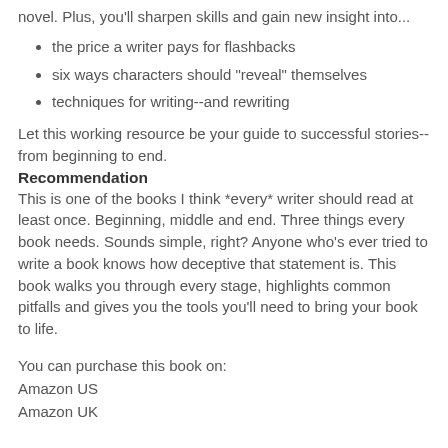novel. Plus, you'll sharpen skills and gain new insight into...
the price a writer pays for flashbacks
six ways characters should "reveal" themselves
techniques for writing--and rewriting
Let this working resource be your guide to successful stories--from beginning to end.
Recommendation
This is one of the books I think *every* writer should read at least once. Beginning, middle and end. Three things every book needs. Sounds simple, right? Anyone who's ever tried to write a book knows how deceptive that statement is. This book walks you through every stage, highlights common pitfalls and gives you the tools you'll need to bring your book to life.
You can purchase this book on:
Amazon US
Amazon UK